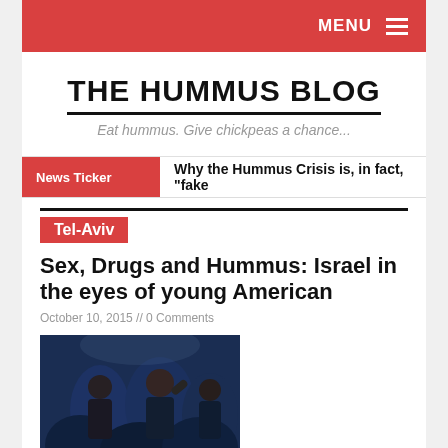MENU
THE HUMMUS BLOG
Eat hummus. Give chickpeas a chance...
News Ticker  Why the Hummus Crisis is, in fact, "fake
Tel-Aviv
Sex, Drugs and Hummus: Israel in the eyes of young American
October 10, 2015 // 0 Comments
[Figure (photo): Photo of people at a nightclub or party scene, dark blue tones]